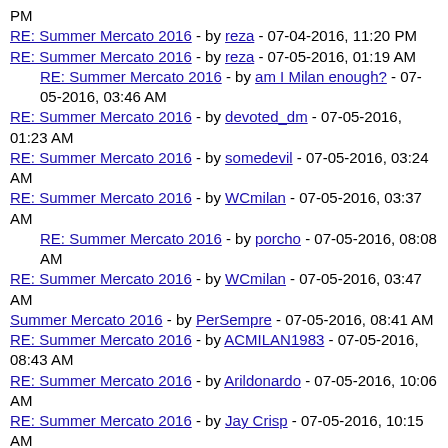PM
RE: Summer Mercato 2016 - by reza - 07-04-2016, 11:20 PM
RE: Summer Mercato 2016 - by reza - 07-05-2016, 01:19 AM
RE: Summer Mercato 2016 - by am I Milan enough? - 07-05-2016, 03:46 AM
RE: Summer Mercato 2016 - by devoted_dm - 07-05-2016, 01:23 AM
RE: Summer Mercato 2016 - by somedevil - 07-05-2016, 03:24 AM
RE: Summer Mercato 2016 - by WCmilan - 07-05-2016, 03:37 AM
RE: Summer Mercato 2016 - by porcho - 07-05-2016, 08:08 AM
RE: Summer Mercato 2016 - by WCmilan - 07-05-2016, 03:47 AM
Summer Mercato 2016 - by PerSempre - 07-05-2016, 08:41 AM
RE: Summer Mercato 2016 - by ACMILAN1983 - 07-05-2016, 08:43 AM
RE: Summer Mercato 2016 - by Arildonardo - 07-05-2016, 10:06 AM
RE: Summer Mercato 2016 - by Jay Crisp - 07-05-2016, 10:15 AM
RE: Summer Mercato 2016 - by Stitch - 07-05-2016, 11:36 AM
RE: Summer Mercato 2016 - by devoted_dm - 07-05-2016,